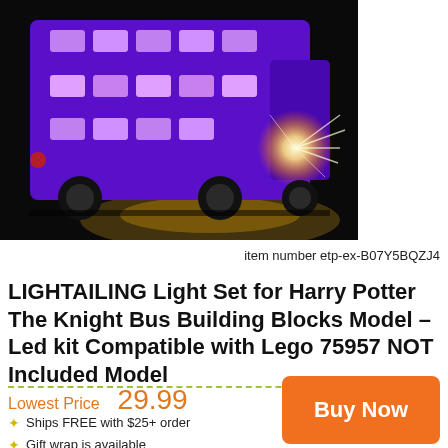[Figure (photo): Photo of a LEGO Knight Bus (purple triple-decker bus) with LED lights glowing, against a dark background with light reflections on the floor]
item number etp-ex-B07Y5BQZJ4
LIGHTAILING Light Set for Harry Potter The Knight Bus Building Blocks Model – Led kit Compatible with Lego 75957 NOT Included Model
Lowest Price   29.99
Buy Now
Ships FREE with $25+ order
Gift wrap is available
Satisfaction guaranteed